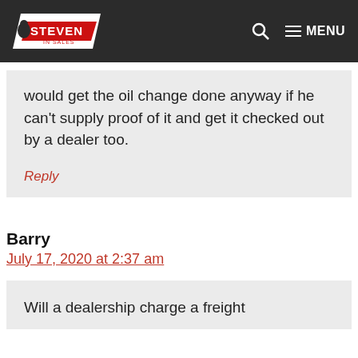Steven In Sales — MENU
would get the oil change done anyway if he can't supply proof of it and get it checked out by a dealer too.
Reply
Barry
July 17, 2020 at 2:37 am
Will a dealership charge a freight